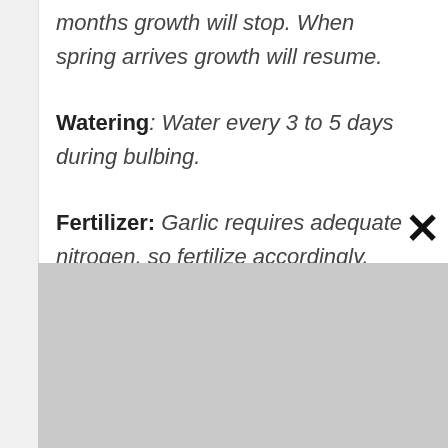months growth will stop. When spring arrives growth will resume.
Watering: Water every 3 to 5 days during bulbing.
Fertilizer: Garlic requires adequate nitrogen, so fertilize accordingly. Blood meal is a good source of high-nitrogen fertilizer. Once you begin fertilization,
[Figure (other): Gray advertisement placeholder rectangle at the bottom of the page with a close (X) button in the upper right corner.]